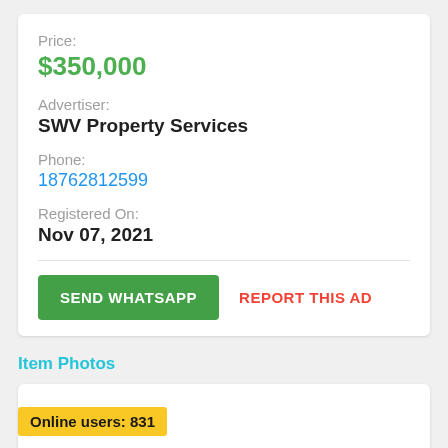Price:
$350,000
Advertiser:
SWV Property Services
Phone:
18762812599
Registered On:
Nov 07, 2021
SEND WHATSAPP
REPORT THIS AD
Item Photos
Online users: 831